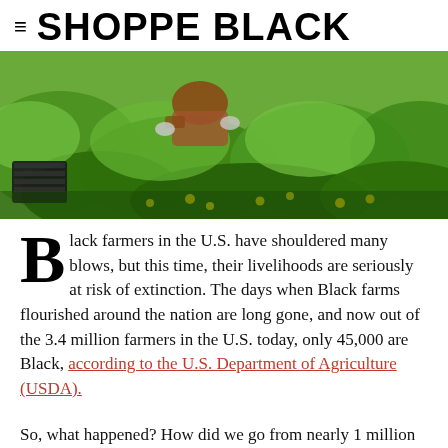≡ SHOPPE BLACK
[Figure (photo): A person working in a lush green farm field with yellow wildflowers, carrying a black crate, crouching among dense green vegetation.]
Black farmers in the U.S. have shouldered many blows, but this time, their livelihoods are seriously at risk of extinction. The days when Black farms flourished around the nation are long gone, and now out of the 3.4 million farmers in the U.S. today, only 45,000 are Black, according to the U.S. Department of Agriculture (USDA).
So, what happened? How did we go from nearly 1 million Black farms to fewer than 36,000 today? Black farme GO TO TOP